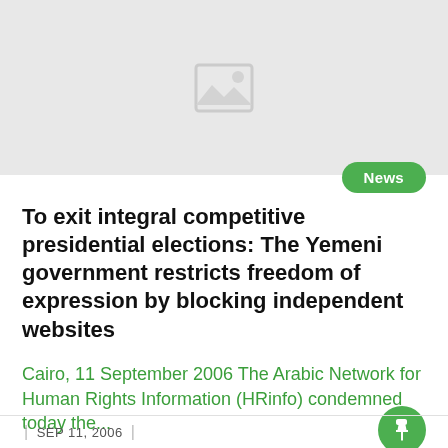[Figure (photo): Image placeholder with mountain/photo icon on grey background]
To exit integral competitive presidential elections: The Yemeni government restricts freedom of expression by blocking independent websites
Cairo, 11 September 2006 The Arabic Network for Human Rights Information (HRinfo) condemned today the...
| SEP 11, 2006 |